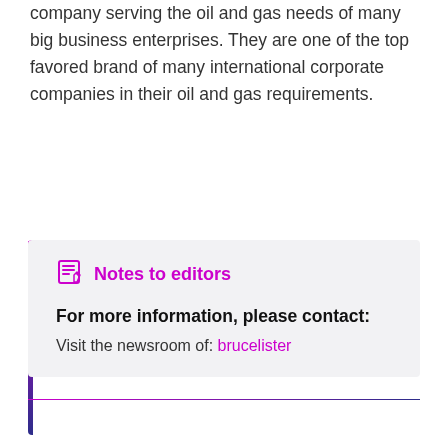company serving the oil and gas needs of many big business enterprises. They are one of the top favored brand of many international corporate companies in their oil and gas requirements.
Notes to editors
For more information, please contact:
Visit the newsroom of: brucelister